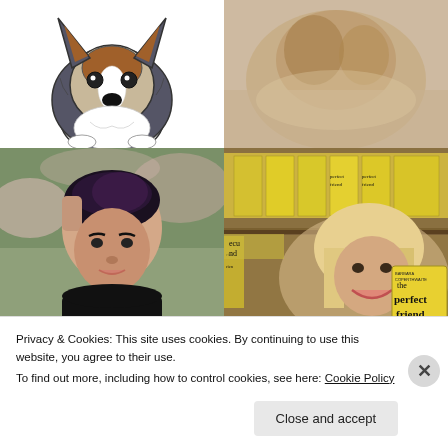[Figure (illustration): Cartoon illustration of a Sheltie/Collie dog with brown, white, and grey fur, drawn in a stylized manner against a white background]
[Figure (photo): Close-up photo of a real dog, showing warm tan/beige fur tones, lying down]
[Figure (photo): Portrait photo of a woman with short purple-tipped dark hair, wearing a black top, outdoors with pink blossoms in the background]
[Figure (photo): Photo of a smiling blonde woman holding a yellow book titled 'the perfect friend' by Barbara Coperthwaite, surrounded by shelves of the same book]
Privacy & Cookies: This site uses cookies. By continuing to use this website, you agree to their use.
To find out more, including how to control cookies, see here: Cookie Policy
Close and accept